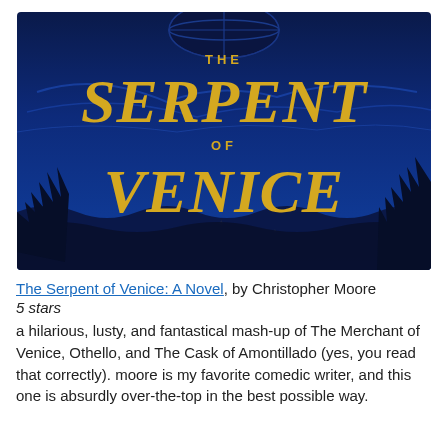[Figure (illustration): Book cover of 'The Serpent of Venice' by Christopher Moore. Deep blue background with stylized waves and dark silhouetted trees. Large golden/yellow decorative lettering reads 'THE SERPENT OF VENICE'. A dark globe or circular object appears at the top center.]
The Serpent of Venice: A Novel, by Christopher Moore
5 stars
a hilarious, lusty, and fantastical mash-up of The Merchant of Venice, Othello, and The Cask of Amontillado (yes, you read that correctly). moore is my favorite comedic writer, and this one is absurdly over-the-top in the best possible way.